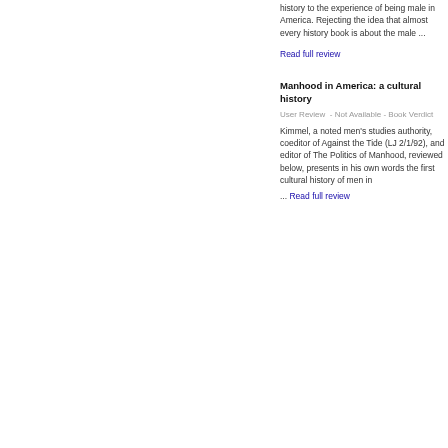history to the experience of being male in America. Rejecting the idea that almost every history book is about the male ...
Read full review
Manhood in America: a cultural history
User Review  - Not Available - Book Verdict
Kimmel, a noted men's studies authority, coeditor of Against the Tide (LJ 2/1/92), and editor of The Politics of Manhood, reviewed below, presents in his own words the first cultural history of men in ... Read full review